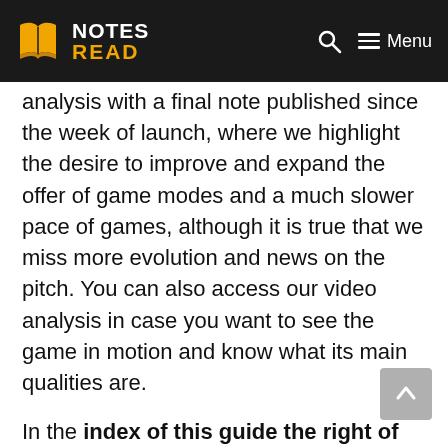NOTES READ — Menu
analysis with a final note published since the week of launch, where we highlight the desire to improve and expand the offer of game modes and a much slower pace of games, although it is true that we miss more evolution and news on the pitch. You can also access our video analysis in case you want to see the game in motion and know what its main qualities are.
In the index of this guide the right of the page find different blocks that will be developed where we will talk about best players by position, age or potential for career